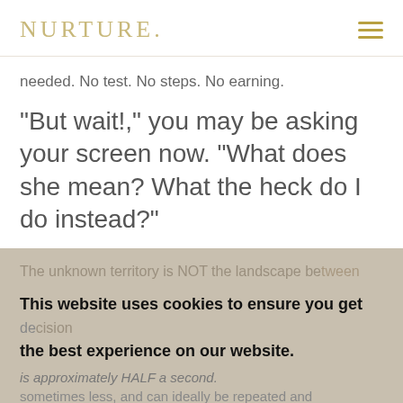NURTURE.
needed. No test. No steps. No earning.
“But wait!,” you may be asking your screen now. “What does she mean? What the heck do I do instead?”
The unknown territory is NOT the landscape between
This website uses cookies to ensure you get the best experience on our website.
Learn more
Thanks, I understand.
enamel so long is so as becomes habit. So what to do with all the terrain that is filled with
unanswered questions and emotions that threaten